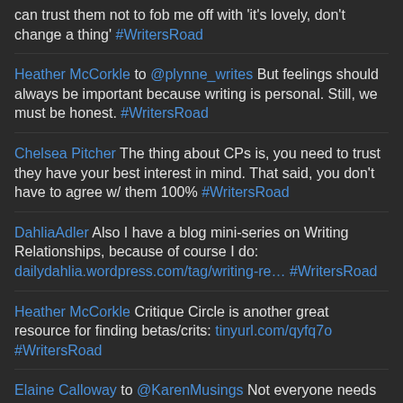can trust them not to fob me off with 'it's lovely, don't change a thing' #WritersRoad
Heather McCorkle  to @plynne_writes But feelings should always be important because writing is personal. Still, we must be honest. #WritersRoad
Chelsea Pitcher  The thing about CPs is, you need to trust they have your best interest in mind. That said, you don't have to agree w/ them 100% #WritersRoad
DahliaAdler  Also I have a blog mini-series on Writing Relationships, because of course I do: dailydahlia.wordpress.com/tag/writing-re… #WritersRoad
Heather McCorkle  Critique Circle is another great resource for finding betas/crits: tinyurl.com/qyfq7o #WritersRoad
Elaine Calloway  to @KarenMusings Not everyone needs 2write